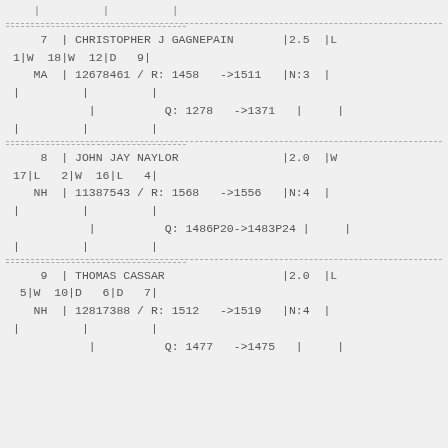7 | CHRISTOPHER J GAGNEPAIN |2.5 |L 1|W 18|W 12|D 9|
    MA | 12678461 / R: 1458   ->1511   |N:3 |
    |         |         |
              | Q: 1278    ->1371   |    |
    |         |         |
8 | JOHN JAY NAYLOR                |2.0  |W 17|L  2|W 16|L  4|
    NH | 11387543 / R: 1568   ->1556   |N:4 |
    |         |         |
              | Q: 1486P20->1483P24 |    |
    |         |         |
9 | THOMAS CASSAR                  |2.0  |L 5|W 10|D  6|D  7|
    NH | 12817388 / R: 1512   ->1519   |N:4 |
    |         |         |
              | Q: 1477    ->1475   |    |